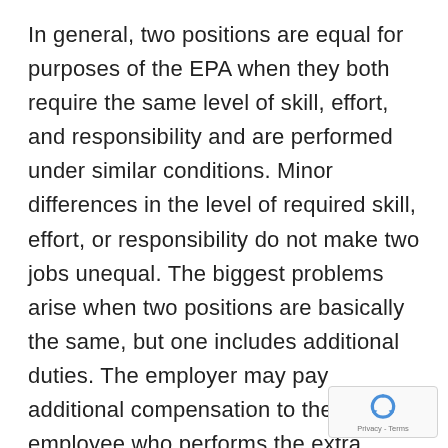In general, two positions are equal for purposes of the EPA when they both require the same level of skill, effort, and responsibility and are performed under similar conditions. Minor differences in the level of required skill, effort, or responsibility do not make two jobs unequal. The biggest problems arise when two positions are basically the same, but one includes additional duties. The employer may pay additional compensation to the employee who performs the extra duties. However, you should note whether your higher paying jobs with extra duties are consistently reserved for workers of one
[Figure (other): reCAPTCHA badge with spinning arrows icon and Privacy - Terms text]